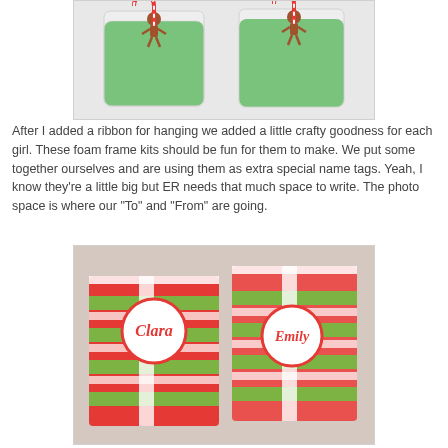[Figure (photo): Two green gift bags wrapped in clear plastic with gingerbread man decorations and candy cane accents on top, viewed from above on a white surface.]
After I added a ribbon for hanging we added a little crafty goodness for each girl. These foam frame kits should be fun for them to make. We put some together ourselves and are using them as extra special name tags. Yeah, I know they're a little big but ER needs that much space to write. The photo space is where our "To" and "From" are going.
[Figure (photo): Two Christmas-wrapped gifts with red and green striped wrapping paper and polka dot ribbon, each featuring a circular name tag — one reading "Clara" and one reading "Emily".]